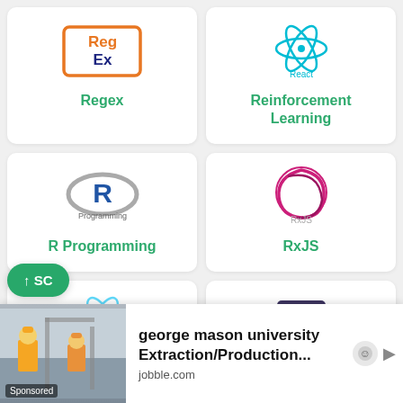[Figure (logo): Regex logo with RegEx text in orange/blue on white background]
Regex
[Figure (logo): React logo - blue atom symbol with 'React' text]
Reinforcement Learning
[Figure (logo): R Programming logo - blue R with grey circle]
R Programming
[Figure (logo): RxJS logo - pink/magenta circle swirl with RxJS text]
RxJS
[Figure (logo): React Native logo - blue atom symbol with React Native text]
React Native
[Figure (logo): Python Design Patterns logo - Python snake on dark background]
Python Design Patterns
[Figure (photo): Ad banner: construction workers photo, Sponsored label, george mason university Extraction/Production... text, jobble.com source]